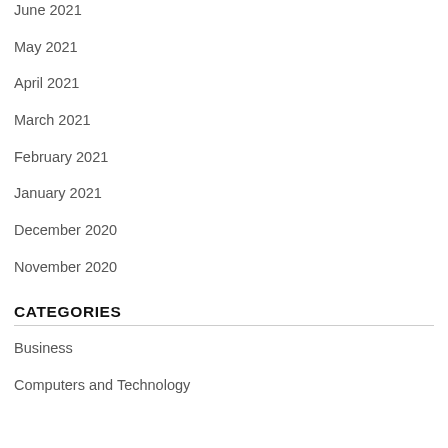June 2021
May 2021
April 2021
March 2021
February 2021
January 2021
December 2020
November 2020
CATEGORIES
Business
Computers and Technology